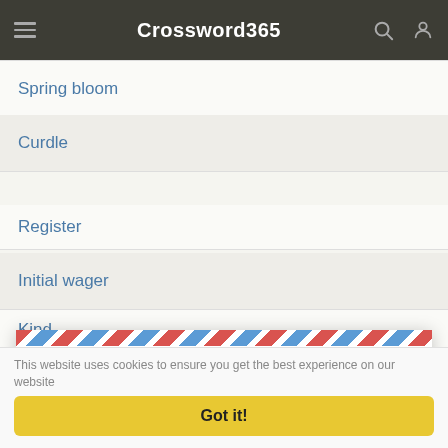Crossword365
Spring bloom
Curdle
Register
Initial wager
Kind
Get the Star Tribune Crossword Answers delivered to your inbox every day!
Your E-Mail Address
This website uses cookies to ensure you get the best experience on our website
Got it!